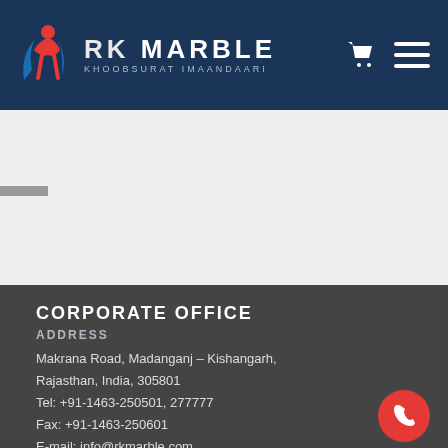[Figure (logo): RK Marble logo with figure icon in red and blue, brand name RK MARBLE in white bold text, tagline KHOOBSURAT IMAANDAARI below]
CORPORATE OFFICE
ADDRESS
Makrana Road, Madanganj - Kishangarh,
Rajasthan, India, 305801
Tel: +91-1463-250501, 277777
Fax: +91-1463-250601
E-mail: info@rkmarble.com